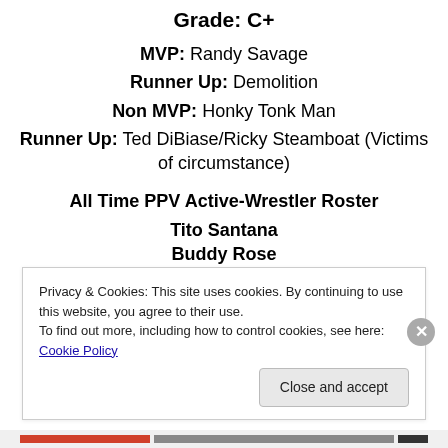Grade: C+
MVP: Randy Savage
Runner Up: Demolition
Non MVP: Honky Tonk Man
Runner Up: Ted DiBiase/Ricky Steamboat (Victims of circumstance)
All Time PPV Active-Wrestler Roster
Tito Santana
Buddy Rose
Privacy & Cookies: This site uses cookies. By continuing to use this website, you agree to their use.
To find out more, including how to control cookies, see here: Cookie Policy
Close and accept